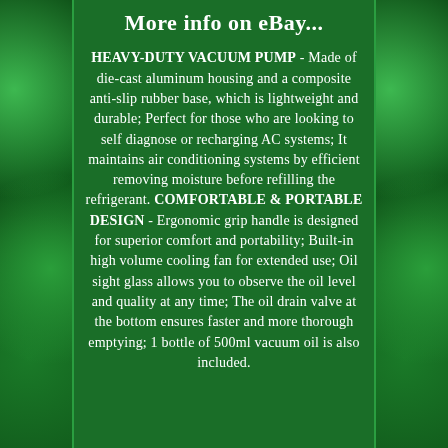More info on eBay...
HEAVY-DUTY VACUUM PUMP - Made of die-cast aluminum housing and a composite anti-slip rubber base, which is lightweight and durable; Perfect for those who are looking to self diagnose or recharging AC systems; It maintains air conditioning systems by efficient removing moisture before refilling the refrigerant. COMFORTABLE & PORTABLE DESIGN - Ergonomic grip handle is designed for superior comfort and portability; Built-in high volume cooling fan for extended use; Oil sight glass allows you to observe the oil level and quality at any time; The oil drain valve at the bottom ensures faster and more thorough emptying; 1 bottle of 500ml vacuum oil is also included.